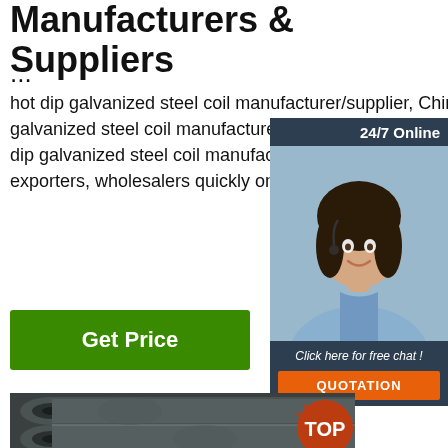Manufacturers & Suppliers
...
hot dip galvanized steel coil manufacturer/supplier, China hot dip galvanized steel coil manufacturer & factory list, find Chinese hot dip galvanized steel coil manufacturers, suppliers, factories, exporters, wholesalers quickly on Made-in-China.com
[Figure (other): Green 'Get Price' button]
[Figure (photo): 24/7 Online chat widget with a woman wearing a headset and quotation button]
[Figure (photo): Steel pipes/tubes stacked horizontally, industrial setting]